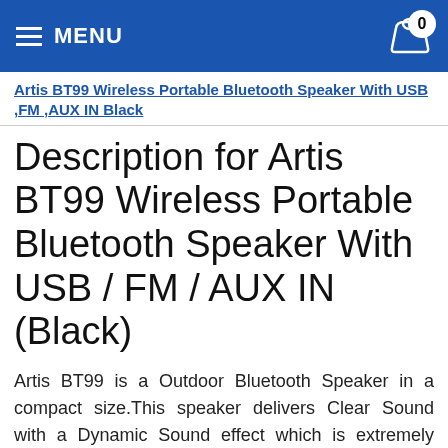MENU | Cart: 0
Artis BT99 Wireless Portable Bluetooth Speaker With USB ,FM ,AUX IN Black
Description for Artis BT99 Wireless Portable Bluetooth Speaker With USB / FM / AUX IN (Black)
Artis BT99 is a Outdoor Bluetooth Speaker in a compact size.This speaker delivers Clear Sound with a Dynamic Sound effect which is extremely powerful & loud. It provides hours of entertainment at an affordable price point. You can carry it to outdoor family picnics, house parties, cultural events/festivals, outdoor sports sessions or it can just be an ideal companion for your evening walks too!. As this is a bluetooth speaker, it can wirelessly connect to your mobile phones and other bluetooth